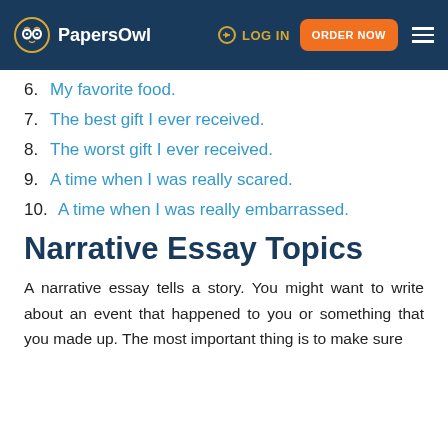PapersOwl | LOG IN | ORDER NOW
6. My favorite food.
7. The best gift I ever received.
8. The worst gift I ever received.
9. A time when I was really scared.
10. A time when I was really embarrassed.
Narrative Essay Topics
A narrative essay tells a story. You might want to write about an event that happened to you or something that you made up. The most important thing is to make sure